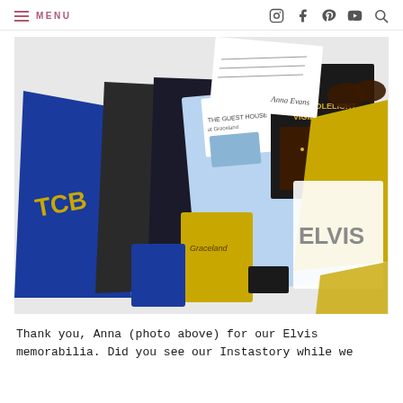≡ MENU
[Figure (photo): A collection of Elvis memorabilia including a blue TCB bag, Guest House at Graceland items, a Candlelight Vigil book/CD, sunglasses, a gold sequin item, an ELVIS branded towel/cloth, a Graceland gold bag, coffee packets, and other souvenirs spread on a white surface.]
Thank you, Anna (photo above) for our Elvis memorabilia. Did you see our Instastory while we